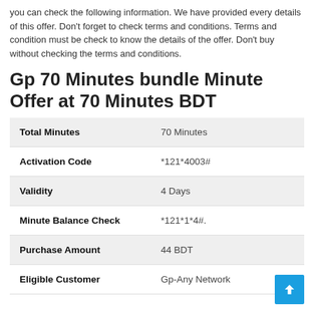you can check the following information. We have provided every details of this offer. Don't forget to check terms and conditions. Terms and condition must be check to know the details of the offer. Don't buy without checking the terms and conditions.
Gp 70 Minutes bundle Minute Offer at 70 Minutes BDT
| Total Minutes | 70 Minutes |
| Activation Code | *121*4003# |
| Validity | 4 Days |
| Minute Balance Check | *121*1*4#. |
| Purchase Amount | 44 BDT |
| Eligible Customer | Gp-Any Network |